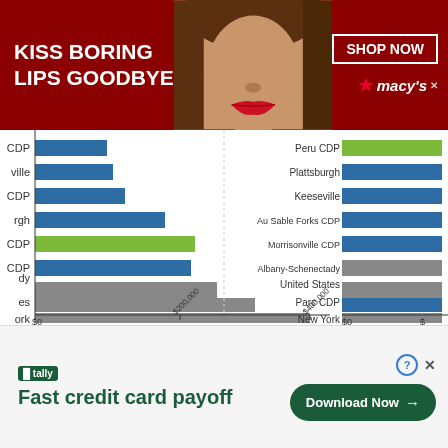[Figure (screenshot): Macy's advertisement banner: KISS BORING LIPS GOODBYE with woman's face and SHOP NOW button and Macy's logo]
[Figure (bar-chart): Horizontal bar chart showing home values for various locations. Left panel shows bars for CDP, ville, CDP, rgh, CDP (green), CDP, dy, es, ork with x-axis $0 to $400,000. Right panel shows Peru CDP (green), Plattsburgh, Keeseville, Au Sable Forks CDP, Morrisonville CDP, Albany-Schenectady, United States, Parc CDP, New York with x-axis starting at $0.]
[Figure (screenshot): Tally advertisement: Fast credit card payoff with Download Now button]